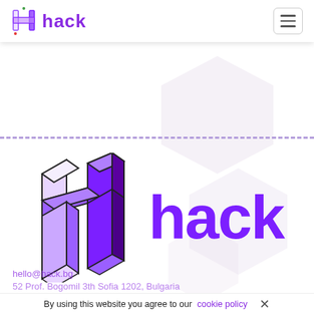hack
[Figure (logo): Hack brand logo: 3D isometric H letter in purple and white, followed by the word 'hack' in bold purple text. Background has light grey hexagon shapes. A purple dashed horizontal line divides the upper empty area from the logo area.]
hello@hack.bg
52 Prof. Bogomil 3th Sofia 1202, Bulgaria
By using this website you agree to our cookie policy ×